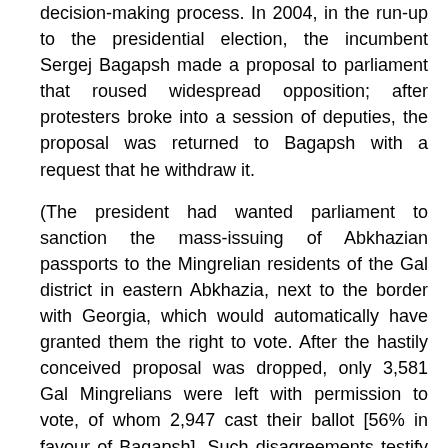decision-making process. In 2004, in the run-up to the presidential election, the incumbent Sergej Bagapsh made a proposal to parliament that roused widespread opposition; after protesters broke into a session of deputies, the proposal was returned to Bagapsh with a request that he withdraw it.
(The president had wanted parliament to sanction the mass-issuing of Abkhazian passports to the Mingrelian residents of the Gal district in eastern Abkhazia, next to the border with Georgia, which would automatically have granted them the right to vote. After the hastily conceived proposal was dropped, only 3,581 Gal Mingrelians were left with permission to vote, of whom 2,947 cast their ballot [56% in favour of Bagapsh]. Such disagreements testify to the open nature of political debate in the state, as was noted with reference to this dispute in Accord: an international review of peace-initiatives [7/1999]).
The parliamentary elections